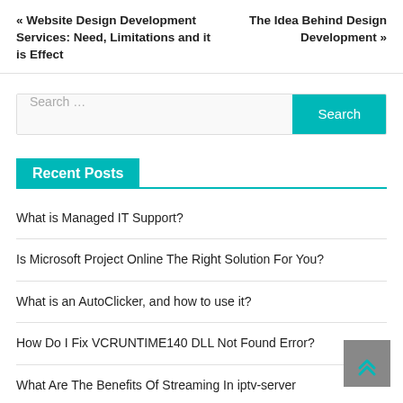« Website Design Development Services: Need, Limitations and it is Effect
The Idea Behind Design Development »
Search ...
Recent Posts
What is Managed IT Support?
Is Microsoft Project Online The Right Solution For You?
What is an AutoClicker, and how to use it?
How Do I Fix VCRUNTIME140 DLL Not Found Error?
What Are The Benefits Of Streaming In iptv-server